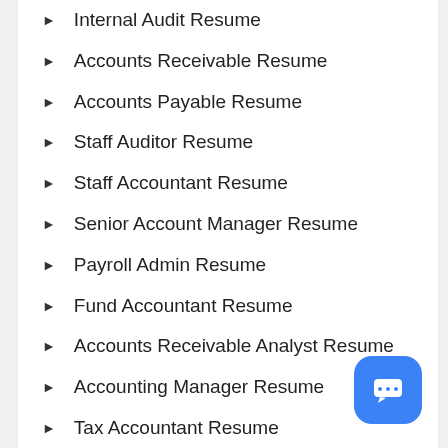Internal Audit Resume
Accounts Receivable Resume
Accounts Payable Resume
Staff Auditor Resume
Staff Accountant Resume
Senior Account Manager Resume
Payroll Admin Resume
Fund Accountant Resume
Accounts Receivable Analyst Resume
Accounting Manager Resume
Tax Accountant Resume
Senior Accountant Resume